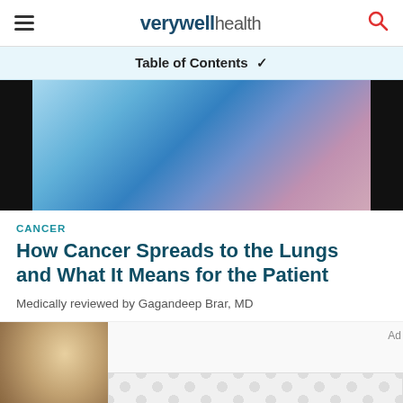verywell health
Table of Contents
[Figure (photo): Blurred medical/hospital scene with blue and purple tones, flanked by black borders on each side]
CANCER
How Cancer Spreads to the Lungs and What It Means for the Patient
Medically reviewed by Gagandeep Brar, MD
[Figure (photo): Partial view of a person, warm golden/brown tones, cropped at bottom of page]
[Figure (other): Advertisement banner with repeating circular dot pattern in light gray]